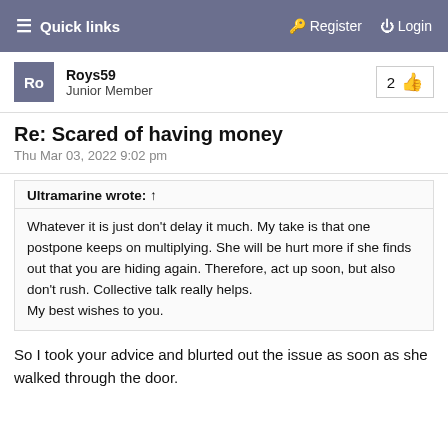Quick links   Register   Login
Roys59
Junior Member
Re: Scared of having money
Thu Mar 03, 2022 9:02 pm
Ultramarine wrote: ↑
Whatever it is just don't delay it much. My take is that one postpone keeps on multiplying. She will be hurt more if she finds out that you are hiding again. Therefore, act up soon, but also don't rush. Collective talk really helps.
My best wishes to you.
So I took your advice and blurted out the issue as soon as she walked through the door.